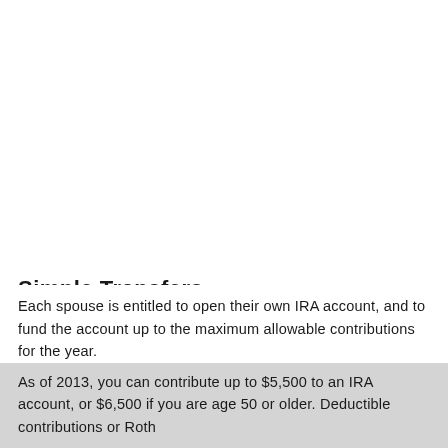Simple Transfers
Each spouse is entitled to open their own IRA account, and to fund the account up to the maximum allowable contributions for the year.
As of 2013, you can contribute up to $5,500 to an IRA account, or $6,500 if you are age 50 or older. Deductible contributions or Roth